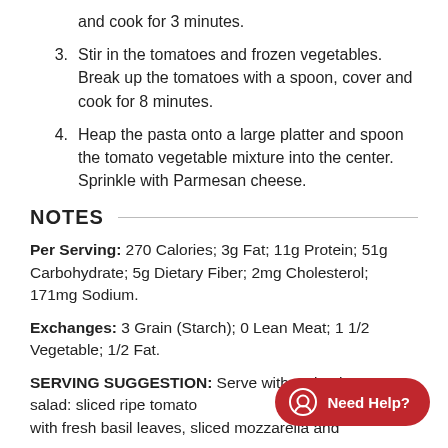and cook for 3 minutes.
3. Stir in the tomatoes and frozen vegetables. Break up the tomatoes with a spoon, cover and cook for 8 minutes.
4. Heap the pasta onto a large platter and spoon the tomato vegetable mixture into the center. Sprinkle with Parmesan cheese.
NOTES
Per Serving: 270 Calories; 3g Fat; 11g Protein; 51g Carbohydrate; 5g Dietary Fiber; 2mg Cholesterol; 171mg Sodium.
Exchanges: 3 Grain (Starch); 0 Lean Meat; 1 1/2 Vegetable; 1/2 Fat.
SERVING SUGGESTION: Serve with a simple caprese salad: sliced ripe tomatoes layered with fresh basil leaves, sliced mozzarella and